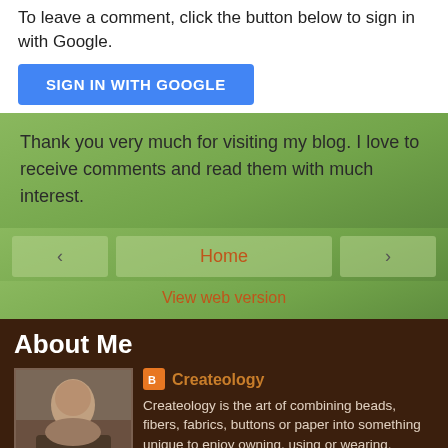To leave a comment, click the button below to sign in with Google.
[Figure (other): Blue 'SIGN IN WITH GOOGLE' button]
Thank you very much for visiting my blog. I love to receive comments and read them with much interest.
< Home >
View web version
About Me
[Figure (photo): Profile photo of person seated at a table]
Createology
Createology is the art of combining beads, fibers, fabrics, buttons or paper into something unique to enjoy owning, using or wearing. Createology is passionate about searching out just the right components for each handmade piece of exquisite jewelry or fabulous feather boas. Fabrics offer designs and themes that can direct the end product results be it a wearable item or a tote bag to